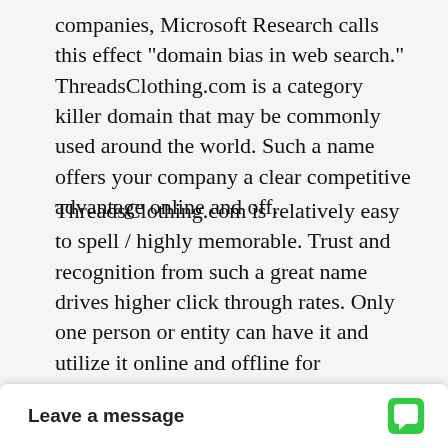companies, Microsoft Research calls this effect "domain bias in web search." ThreadsClothing.com is a category killer domain that may be commonly used around the world. Such a name offers your company a clear competitive advantage online and off.
ThreadsClothing.com is relatively easy to spell / highly memorable. Trust and recognition from such a great name drives higher click through rates. Only one person or entity can have it and utilize it online and offline for marketing and advertising (and maintain all future resale rights at any price or profit level).
Establish your company, product or service dominance with an outstanding .Com brand. For existing brands, it is the ideal opportunity to re-enforce and protect
[Figure (screenshot): Chat widget bar at bottom of page with 'Leave a message' label and green speech bubble icon]